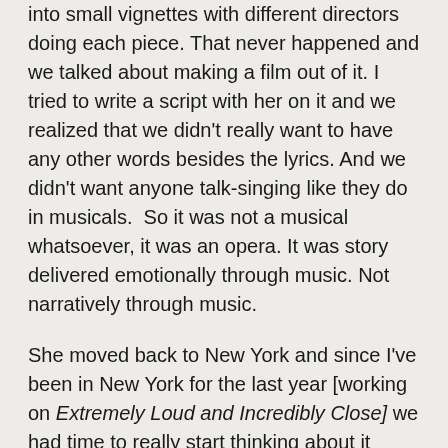into small vignettes with different directors doing each piece. That never happened and we talked about making a film out of it. I tried to write a script with her on it and we realized that we didn't really want to have any other words besides the lyrics. And we didn't want anyone talk-singing like they do in musicals.  So it was not a musical whatsoever, it was an opera. It was story delivered emotionally through music. Not narratively through music.
She moved back to New York and since I've been in New York for the last year [working on Extremely Loud and Incredibly Close] we had time to really start thinking about it again and everything fell into place. We started interviewing directors and then we got funded by the Creator's Project which is a combination of Vice Media and Intel. And all of a sudden we said, Okay, we gotta do this. We gotta do this right now.